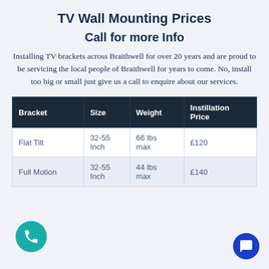TV Wall Mounting Prices
Call for more Info
Installing TV brackets across Braithwell for over 20 years and are proud to be servicing the local people of Braithwell for years to come. No, install too big or small just give us a call to enquire about our services.
| Bracket | Size | Weight | Instillation Price |
| --- | --- | --- | --- |
| Flat Tilt | 32-55 Inch | 66 lbs max | £120 |
| Full Motion | 32-55 Inch | 44 lbs max | £140 |